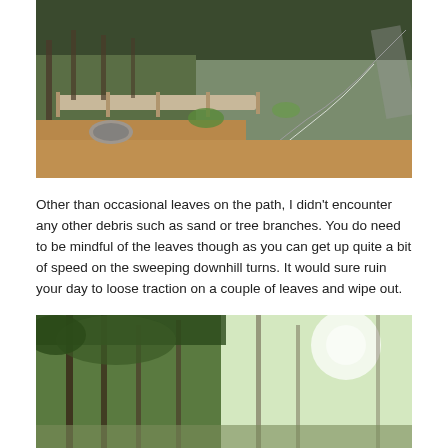[Figure (photo): Outdoor photo showing a winding paved path/road curving to the right, surrounded by trees, a wooden fence in the middle ground, dry leaf-covered ground in the foreground, and a culvert pipe visible on the left side.]
Other than occasional leaves on the path, I didn't encounter any other debris such as sand or tree branches. You do need to be mindful of the leaves though as you can get up quite a bit of speed on the sweeping downhill turns. It would sure ruin your day to loose traction on a couple of leaves and wipe out.
[Figure (photo): Outdoor photo showing tall eucalyptus trees against a bright sky, with sunlight filtering through the canopy on the right side.]